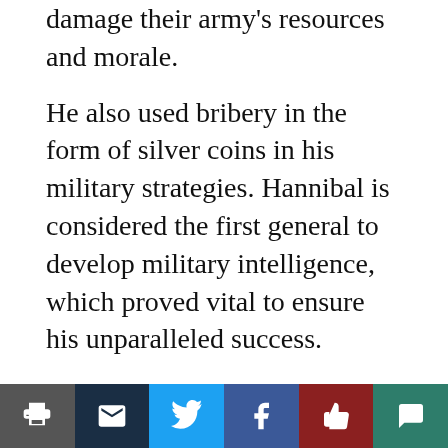damage their army's resources and morale.
He also used bribery in the form of silver coins in his military strategies. Hannibal is considered the first general to develop military intelligence, which proved vital to ensure his unparalleled success.
“A thousand men poorly led will fall to 100 men wisely led,” Dr. Hunt said.
Hannibal used African and Asian elephants as transportation through the Alps; the elephants were useful for crossing the rough terrain, and they frightened Hannibal’s enemies and their horses. The resulting chaos allowed Hannibal to secure decisive victory.